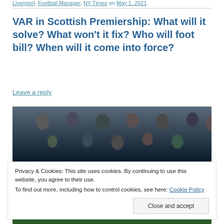Liverpool, Football Manager, NY Times on May 1, 2021.
VAR in Scottish Premiership: What will it solve? What won't it fix? Who will foot bill? When will it come into force?
Leave a reply
[Figure (photo): Crowd of football supporters in dark winter clothing, photographed at a Scottish Premiership match.]
Privacy & Cookies: This site uses cookies. By continuing to use this website, you agree to their use.
To find out more, including how to control cookies, see here: Cookie Policy
Close and accept